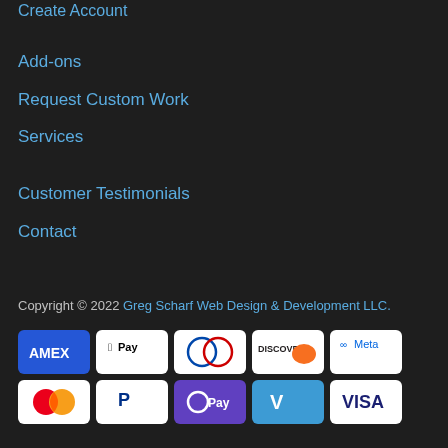Create Account
Add-ons
Request Custom Work
Services
Customer Testimonials
Contact
Copyright © 2022 Greg Scharf Web Design & Development LLC.
[Figure (infographic): Payment method icons: Amex, Apple Pay, Diners Club, Discover, Meta, Mastercard, PayPal, OPay, Venmo, Visa]